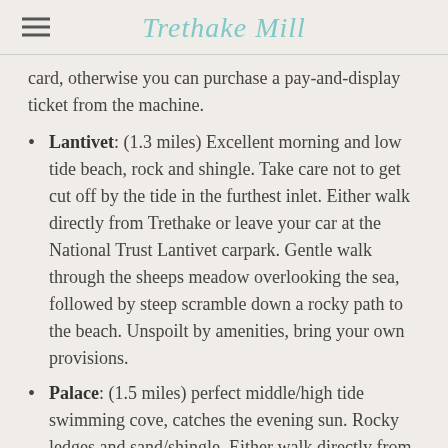Trethake Mill
card, otherwise you can purchase a pay-and-display ticket from the machine.
Lantivet: (1.3 miles) Excellent morning and low tide beach, rock and shingle. Take care not to get cut off by the tide in the furthest inlet. Either walk directly from Trethake or leave your car at the National Trust Lantivet carpark. Gentle walk through the sheeps meadow overlooking the sea, followed by steep scramble down a rocky path to the beach. Unspoilt by amenities, bring your own provisions.
Palace: (1.5 miles) perfect middle/high tide swimming cove, catches the evening sun. Rocky ledges and sand/shingle. Either walk directly from Trethake or leave your car at the National Trust Lantivet carpark. Gentle walk